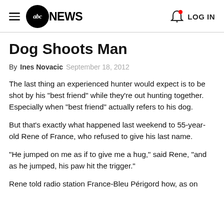ABC News — LOG IN
Dog Shoots Man
By Ines Novacic  September 18, 2012
The last thing an experienced hunter would expect is to be shot by his "best friend" while they're out hunting together. Especially when "best friend" actually refers to his dog.
But that's exactly what happened last weekend to 55-year-old Rene of France, who refused to give his last name.
"He jumped on me as if to give me a hug," said Rene, "and as he jumped, his paw hit the trigger."
Rene told radio station France-Bleu Périgord how, as on